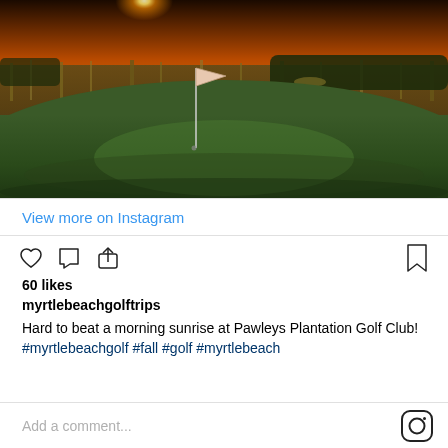[Figure (photo): Sunset view over a golf course putting green at Pawleys Plantation Golf Club, with golden light, a flag pin, and marsh grass in the background]
View more on Instagram
[Figure (infographic): Instagram action icons: heart (like), comment bubble, share/upload arrow, and bookmark]
60 likes
myrtlebeachgolftrips
Hard to beat a morning sunrise at Pawleys Plantation Golf Club! #myrtlebeachgolf #fall #golf #myrtlebeach
Add a comment...
[Figure (logo): Instagram camera logo icon]